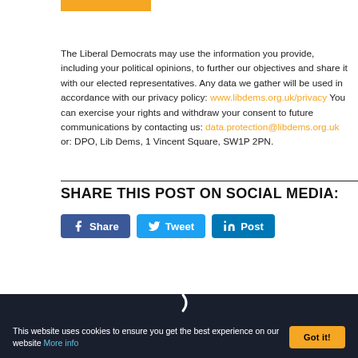[Figure (other): Orange decorative bar at top]
The Liberal Democrats may use the information you provide, including your political opinions, to further our objectives and share it with our elected representatives. Any data we gather will be used in accordance with our privacy policy: www.libdems.org.uk/privacy You can exercise your rights and withdraw your consent to future communications by contacting us: data.protection@libdems.org.uk or: DPO, Lib Dems, 1 Vincent Square, SW1P 2PN.
SHARE THIS POST ON SOCIAL MEDIA:
[Figure (other): Social media share buttons: Facebook Share, Twitter Tweet, LinkedIn Post]
This website uses cookies to ensure you get the best experience on our website More info  Got it!